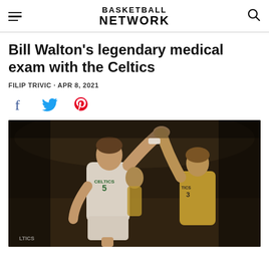BASKETBALL NETWORK
Bill Walton's legendary medical exam with the Celtics
FILIP TRIVIC · APR 8, 2021
[Figure (other): Social share icons: Facebook, Twitter, Pinterest]
[Figure (photo): Bill Walton wearing Celtics #5 jersey high-fiving a teammate during a basketball game. Sepia-toned action photo.]